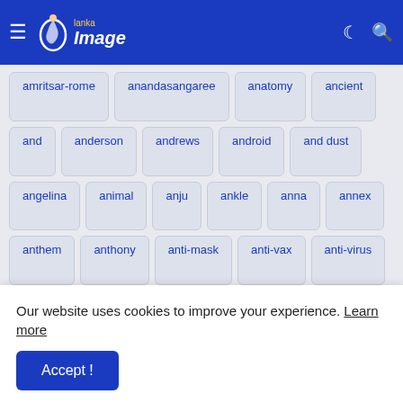Lanka Image - navigation bar with logo, hamburger menu, moon icon, search icon
amritsar-rome
anandasangaree
anatomy
ancient
and
anderson
andrews
android
and dust
angelina
animal
anju
ankle
anna
annex
anthem
anthony
anti-mask
anti-vax
anti-virus
antigen
antonio
anushka
anyone
aparshakti
apart
apartheid
apidm
apologises
apologists
appealing
appear
appearance
apple&#8217;s
appoint
appoints
appreciates
approach
Our website uses cookies to improve your experience. Learn more
Accept !